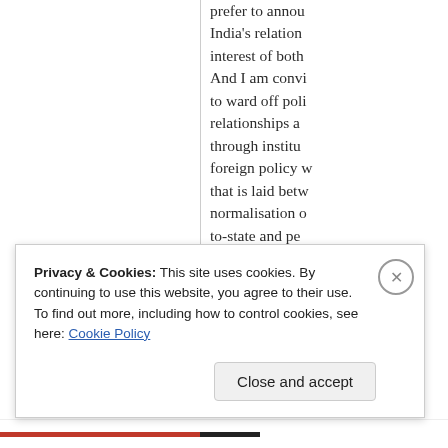prefer to annou India's relation interest of both And I am convi to ward off poli relationships a through institu foreign policy w that is laid betw normalisation o to-state and pe actions in the M above. As for th Chinese had al
Privacy & Cookies: This site uses cookies. By continuing to use this website, you agree to their use. To find out more, including how to control cookies, see here: Cookie Policy
Close and accept